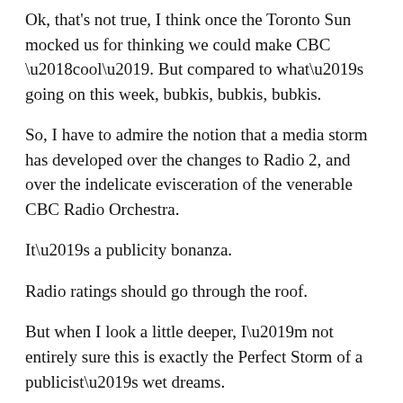Ok, that's not true, I think once the Toronto Sun mocked us for thinking we could make CBC ‘cool’. But compared to what’s going on this week, bubkis, bubkis, bubkis.
So, I have to admire the notion that a media storm has developed over the changes to Radio 2, and over the indelicate evisceration of the venerable CBC Radio Orchestra.
It’s a publicity bonanza.
Radio ratings should go through the roof.
But when I look a little deeper, I’m not entirely sure this is exactly the Perfect Storm of a publicist’s wet dreams.
[Figure (other): Broken image placeholder labeled 'cbc ad']
The mainstream papers seem to have picked up the orchestra cancellation story, but they aren’t going much deeper than that.